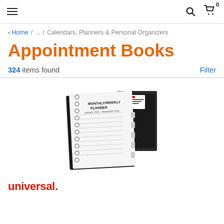Navigation bar with hamburger menu, search icon, and cart icon (0 items)
Home / ... / Calendars, Planners & Personal Organizers
Appointment Books
324 items found
Filter
[Figure (photo): Product image showing appointment books: a spiral-bound Monthly/Weekly Planner open, and two black book covers behind it]
universal.